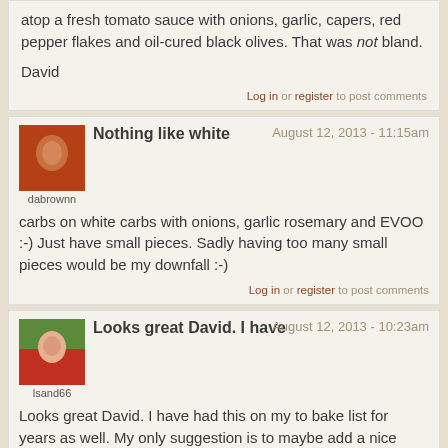atop a fresh tomato sauce with onions, garlic, capers, red pepper flakes and oil-cured black olives. That was not bland.

David
Log in or register to post comments
Nothing like white
August 12, 2013 - 11:15am
dabrownn
carbs on white carbs with onions, garlic rosemary and EVOO :-)  Just have small pieces.  Sadly having too many small pieces would be my downfall :-)
Log in or register to post comments
Looks great David.  I have
August 12, 2013 - 10:23am
lsand66
Looks great David.  I have had this on my to bake list for years as well.  My only suggestion is to maybe add a nice béchamel sauce on top of those golden potatoes....now  you have a meal onto itself although you may have to do a few extra laps around the block!

Ian